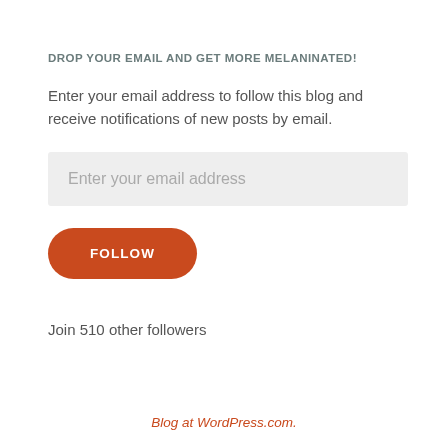DROP YOUR EMAIL AND GET MORE MELANINATED!
Enter your email address to follow this blog and receive notifications of new posts by email.
Enter your email address
FOLLOW
Join 510 other followers
Blog at WordPress.com.